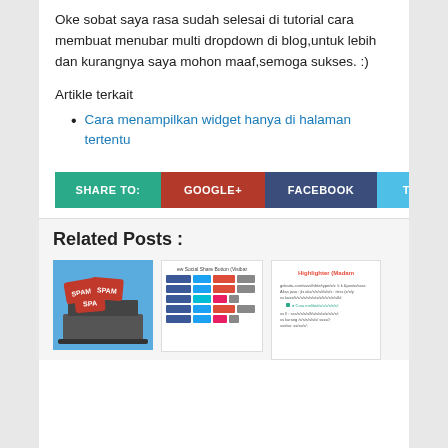Oke sobat saya rasa sudah selesai di tutorial cara membuat menubar multi dropdown di blog,untuk lebih dan kurangnya saya mohon maaf,semoga sukses. :)
Artikle terkait
Cara menampilkan widget hanya di halaman tertentu
[Figure (infographic): Share buttons row: SHARE TO: (teal), GOOGLE+ (red), FACEBOOK (dark blue), TWITTER (light blue)]
Related Posts :
[Figure (photo): Thumbnail showing SPAM text on laptop screen with blue background]
[Figure (screenshot): Thumbnail showing social share buttons interface]
[Figure (screenshot): Thumbnail showing Highlighter (Madam) page]